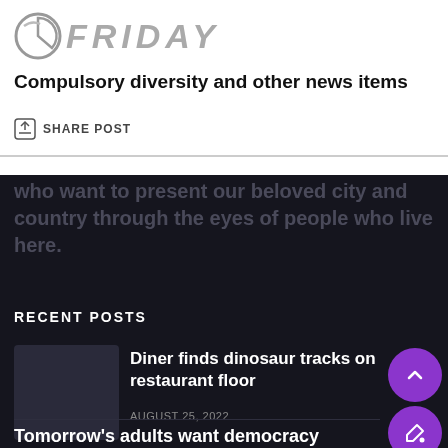FRIDAY
Compulsory diversity and other news items
SHARE POST
who want to present our beloved city and country through the eyes of people who live here.
RECENT POSTS
Diner finds dinosaur tracks on restaurant floor
AUGUST 25, 2022
Tomorrow's adults want democracy